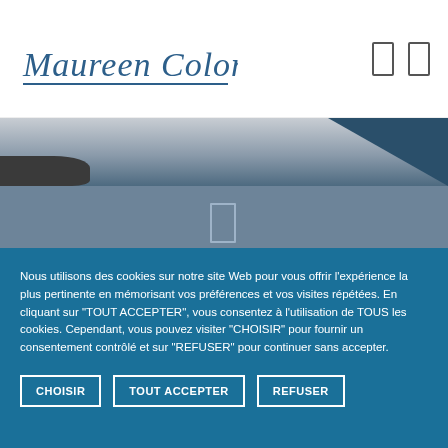[Figure (logo): Maureen Colomar signature logo in handwritten blue italic style with underline, and two navigation icons (rectangular outlines) on the right]
[Figure (photo): Website header banner image showing a snowy dark landscape/scene above, transitioning to a muted steel-blue background below, with a small rectangle window/door icon visible in the center-lower area]
Nous utilisons des cookies sur notre site Web pour vous offrir l'expérience la plus pertinente en mémorisant vos préférences et vos visites répétées. En cliquant sur "TOUT ACCEPTER", vous consentez à l'utilisation de TOUS les cookies. Cependant, vous pouvez visiter "CHOISIR" pour fournir un consentement contrôlé et sur "REFUSER" pour continuer sans accepter.
CHOISIR
TOUT ACCEPTER
REFUSER